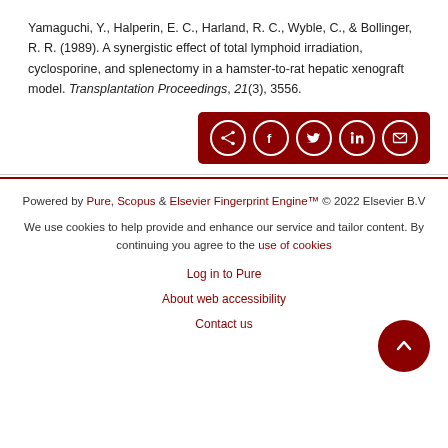Yamaguchi, Y., Halperin, E. C., Harland, R. C., Wyble, C., & Bollinger, R. R. (1989). A synergistic effect of total lymphoid irradiation, cyclosporine, and splenectomy in a hamster-to-rat hepatic xenograft model. Transplantation Proceedings, 21(3), 3556.
[Figure (other): Share bar with dark red background containing share, Facebook, Twitter, LinkedIn, and email icons]
Powered by Pure, Scopus & Elsevier Fingerprint Engine™ © 2022 Elsevier B.V
We use cookies to help provide and enhance our service and tailor content. By continuing you agree to the use of cookies
Log in to Pure
About web accessibility
Contact us